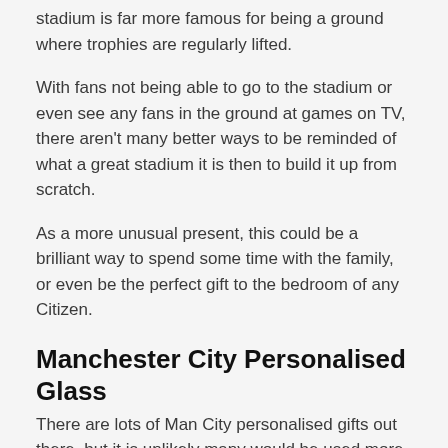stadium is far more famous for being a ground where trophies are regularly lifted.
With fans not being able to go to the stadium or even see any fans in the ground at games on TV, there aren't many better ways to be reminded of what a great stadium it is then to build it up from scratch.
As a more unusual present, this could be a brilliant way to spend some time with the family, or even be the perfect gift to the bedroom of any Citizen.
Manchester City Personalised Glass
There are lots of Man City personalised gifts out there, but it is unlikely many would be used more than a personalised pint glass.
With trips to the pub now few and far between, pint